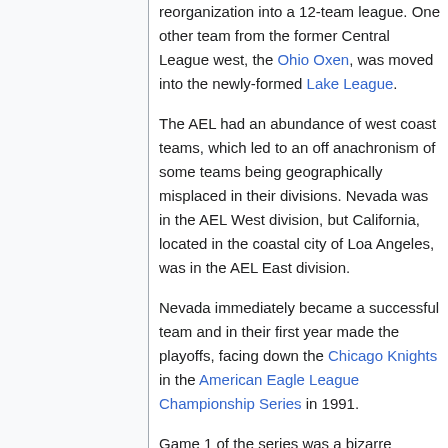reorganization into a 12-team league. One other team from the former Central League west, the Ohio Oxen, was moved into the newly-formed Lake League.
The AEL had an abundance of west coast teams, which led to an off anachronism of some teams being geographically misplaced in their divisions. Nevada was in the AEL West division, but California, located in the coastal city of Loa Angeles, was in the AEL East division.
Nevada immediately became a successful team and in their first year made the playoffs, facing down the Chicago Knights in the American Eagle League Championship Series in 1991.
Game 1 of the series was a bizarre double-no-hitter, in which neither team